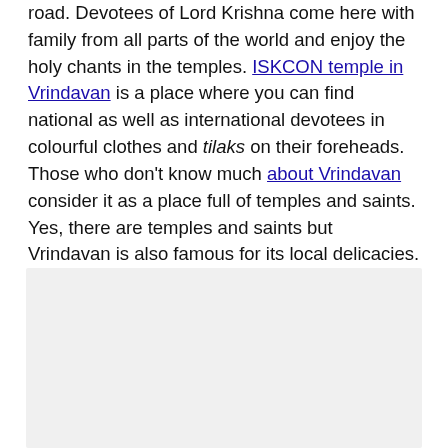road. Devotees of Lord Krishna come here with family from all parts of the world and enjoy the holy chants in the temples. ISKCON temple in Vrindavan is a place where you can find national as well as international devotees in colourful clothes and tilaks on their foreheads. Those who don't know much about Vrindavan consider it as a place full of temples and saints. Yes, there are temples and saints but Vrindavan is also famous for its local delicacies.
[Figure (photo): A photo placeholder shown as a light grey rectangle]